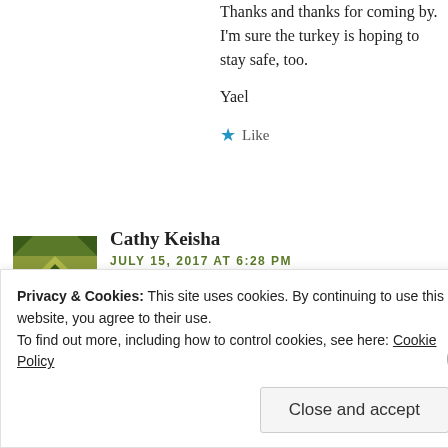Thanks and thanks for coming by. I'm sure the turkey is hoping to stay safe, too.
Yael
★ Like
Cathy Keisha
JULY 15, 2017 AT 6:28 PM
Those are all good but I love that smoky affect!
Privacy & Cookies: This site uses cookies. By continuing to use this website, you agree to their use.
To find out more, including how to control cookies, see here: Cookie Policy
Close and accept